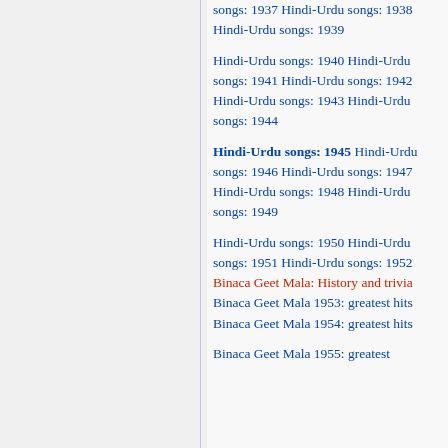songs: 1937 Hindi-Urdu songs: 1938 Hindi-Urdu songs: 1939
Hindi-Urdu songs: 1940 Hindi-Urdu songs: 1941 Hindi-Urdu songs: 1942 Hindi-Urdu songs: 1943 Hindi-Urdu songs: 1944
Hindi-Urdu songs: 1945 Hindi-Urdu songs: 1946 Hindi-Urdu songs: 1947 Hindi-Urdu songs: 1948 Hindi-Urdu songs: 1949
Hindi-Urdu songs: 1950 Hindi-Urdu songs: 1951 Hindi-Urdu songs: 1952 Binaca Geet Mala: History and trivia Binaca Geet Mala 1953: greatest hits Binaca Geet Mala 1954: greatest hits
Binaca Geet Mala 1955: greatest